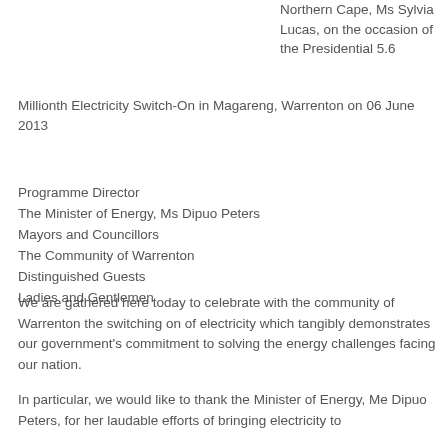Northern Cape, Ms Sylvia Lucas, on the occasion of the Presidential 5.6 Millionth Electricity Switch-On in Magareng, Warrenton on 06 June 2013
Programme Director
The Minister of Energy, Ms Dipuo Peters
Mayors and Councillors
The Community of Warrenton
Distinguished Guests
Ladies and Gentlemen
We are gathered here today to celebrate with the community of Warrenton the switching on of electricity which tangibly demonstrates our government’s commitment to solving the energy challenges facing our nation.
In particular, we would like to thank the Minister of Energy, Me Dipuo Peters, for her laudable efforts of bringing electricity to